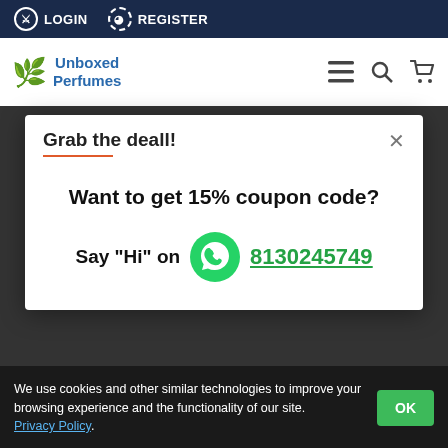LOGIN   REGISTER
[Figure (screenshot): Unboxed Perfumes logo with leaf icon, navigation bar with hamburger menu, search and cart icons]
Grab the deall!
Want to get 15% coupon code?
Say "Hi" on [WhatsApp icon] 8130245749
Don't show again
We use cookies and other similar technologies to improve your browsing experience and the functionality of our site. Privacy Policy.